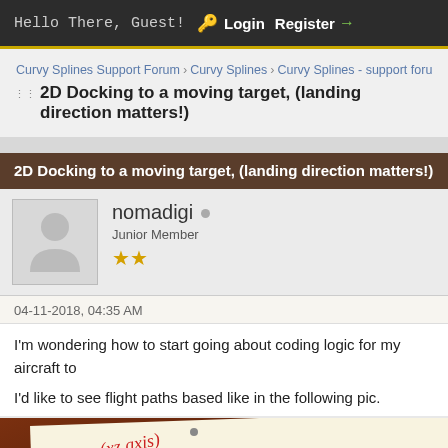Hello There, Guest! Login Register →
Curvy Splines Support Forum › Curvy Splines › Curvy Splines - support forum
2D Docking to a moving target, (landing direction matters!)
2D Docking to a moving target, (landing direction matters!)
nomadigi  Junior Member ★★
04-11-2018, 04:35 AM
I'm wondering how to start going about coding logic for my aircraft to
I'd like to see flight paths based like in the following pic.
[Figure (photo): Handwritten note on paper showing 'Docking (xz axis)' in red ink, photographed against a dark wood background]